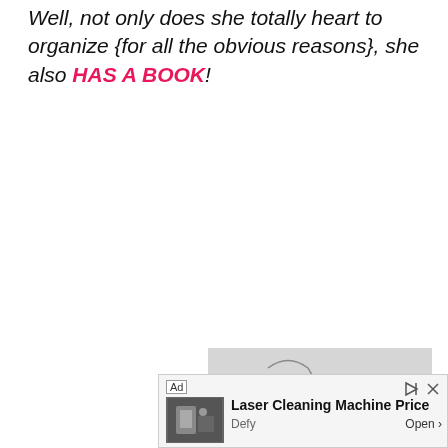Well, not only does she totally heart to organize {for all the obvious reasons}, she also HAS A BOOK!
[Figure (photo): Partial photo of a book with yellow and green cover showing '101', appears to be a lifestyle/organization book.]
[Figure (screenshot): Ad banner at the bottom: 'Laser Cleaning Machine Price' by Defy with an Open button and close/play controls.]